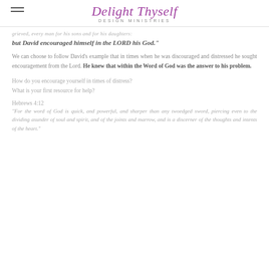Delight Thyself DESIGN MINISTRIES
grieved, every man for his sons and for his daughters:
but David encouraged himself in the LORD his God."
We can choose to follow David's example that in times when he was discouraged and distressed he sought encouragement from the Lord. He knew that within the Word of God was the answer to his problem.
How do you encourage yourself in times of distress?
What is your first resource for help?
Hebrews 4:12
"For the word of God is quick, and powerful, and sharper than any twoedged sword, piercing even to the dividing asunder of soul and spirit, and of the joints and marrow, and is a discerner of the thoughts and intents of the heart."